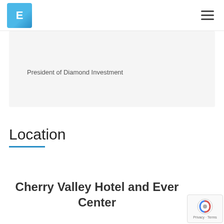E [logo] [hamburger menu]
President of Diamond Investment
Location
Cherry Valley Hotel and Event Center